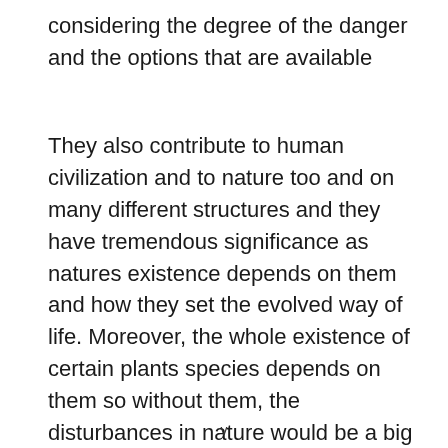considering the degree of the danger and the options that are available
They also contribute to human civilization and to nature too and on many different structures and they have tremendous significance as natures existence depends on them and how they set the evolved way of life. Moreover, the whole existence of certain plants species depends on them so without them, the disturbances in nature would be a big danger.
v